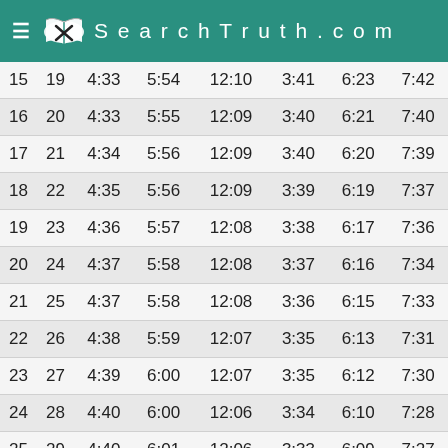SearchTruth.com
| 15 | 19 | 4:33 | 5:54 | 12:10 | 3:41 | 6:23 | 7:42 |
| 16 | 20 | 4:33 | 5:55 | 12:09 | 3:40 | 6:21 | 7:40 |
| 17 | 21 | 4:34 | 5:56 | 12:09 | 3:40 | 6:20 | 7:39 |
| 18 | 22 | 4:35 | 5:56 | 12:09 | 3:39 | 6:19 | 7:37 |
| 19 | 23 | 4:36 | 5:57 | 12:08 | 3:38 | 6:17 | 7:36 |
| 20 | 24 | 4:37 | 5:58 | 12:08 | 3:37 | 6:16 | 7:34 |
| 21 | 25 | 4:37 | 5:58 | 12:08 | 3:36 | 6:15 | 7:33 |
| 22 | 26 | 4:38 | 5:59 | 12:07 | 3:35 | 6:13 | 7:31 |
| 23 | 27 | 4:39 | 6:00 | 12:07 | 3:35 | 6:12 | 7:30 |
| 24 | 28 | 4:40 | 6:00 | 12:06 | 3:34 | 6:10 | 7:28 |
| 25 | 29 | 4:40 | 6:01 | 12:06 | 3:33 | 6:09 | 7:27 |